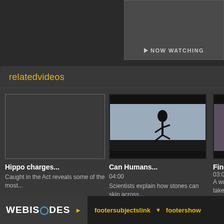NOW WATCHING
relatedvideos
Hippo charges...
Caught in the Act reveals some of the most...
programme Caught in the Act
genre Nature
[Figure (screenshot): Video thumbnail of a person running]
Can Humans...
04:00
Scientists explain how stones can skip across...
programme I Didn't Know That
genre Science
[Figure (screenshot): Partially visible third video thumbnail]
Findin...
03:03
A woo... takes t...
programme Tree Po...
genre S...
WEBISODES  footersubjectslink  footershow